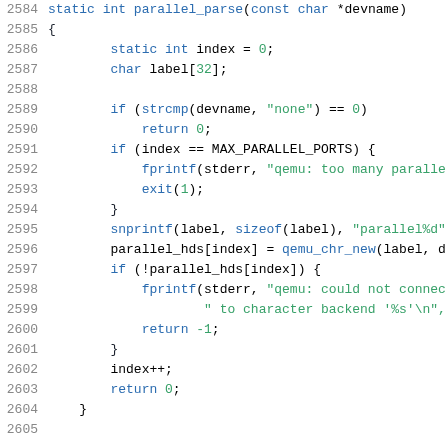[Figure (screenshot): Source code listing in C, lines 2584-2605, showing the parallel_parse function with syntax highlighting. Keywords in blue, string literals in green, line numbers in gray.]